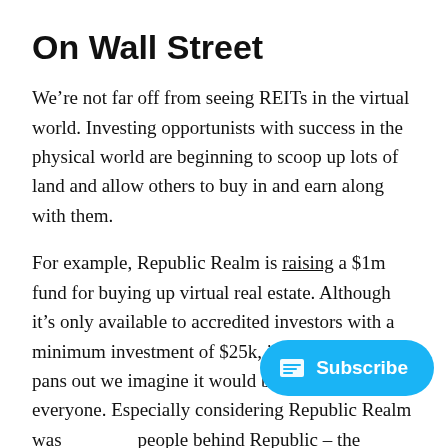On Wall Street
We’re not far off from seeing REITs in the virtual world. Investing opportunists with success in the physical world are beginning to scoop up lots of land and allow others to buy in and earn along with them.
For example, Republic Realm is raising a $1m fund for buying up virtual real estate. Although it’s only available to accredited investors with a minimum investment of $25k, if their first fund pans out we imagine it would be open to everyone. Especially considering Republic Realm was – the people behind Republic – the platform that allows retail investors to invest in everything from